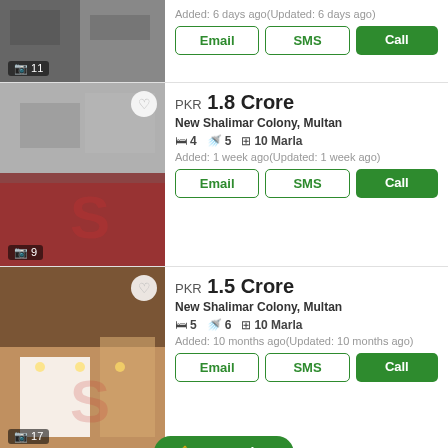[Figure (photo): Partial top listing photo of a building, photo count badge showing 11]
Added: 6 days ago(Updated: 6 days ago)
Email | SMS | Call buttons
[Figure (photo): House exterior in New Shalimar Colony, Multan, photo count badge showing 9]
PKR 1.8 Crore
New Shalimar Colony, Multan
4 beds  5 baths  10 Marla
Added: 1 week ago(Updated: 1 week ago)
Email | SMS | Call buttons
[Figure (photo): House interior/exterior in New Shalimar Colony, Multan, photo count badge showing 17]
PKR 1.5 Crore
New Shalimar Colony, Multan
5 beds  6 baths  10 Marla
Added: 10 months ago(Updated: 10 months ago)
Email | SMS | Call buttons
[Figure (photo): Partial fourth listing photo showing rooftop/sky, New Shalimar Colony Multan]
PKR 2.0 Crore (partially visible)
New Shalimar Colony, Multan
Set an alert